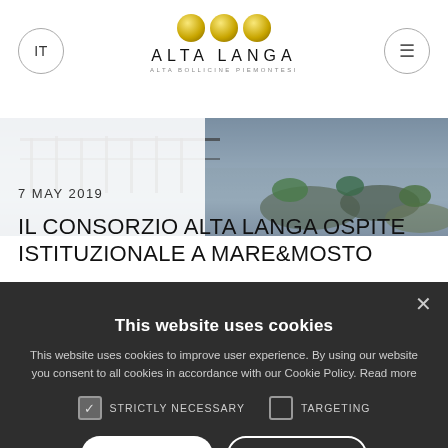[Figure (logo): Alta Langa logo with three gold spheres and text ALTA LANGA / ALTA BOLLICINE PIEMONTESI]
[Figure (photo): Harbor or waterfront scene with railings, water, and rocks, viewed from above]
7 MAY 2019
IL CONSORZIO ALTA LANGA OSPITE ISTITUZIONALE A MARE&MOSTO
This website uses cookies
This website uses cookies to improve user experience. By using our website you consent to all cookies in accordance with our Cookie Policy. Read more
STRICTLY NECESSARY   TARGETING
ACCEPT ALL   DECLINE ALL
SHOW DETAILS